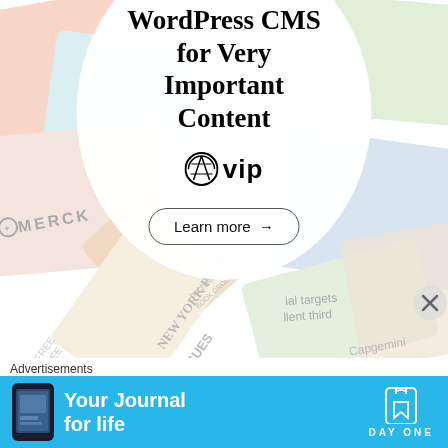[Figure (infographic): WordPress VIP advertisement with white circle overlay on a colorful collage background showing various brand logos (Merck, Hachette Book Group, NY Post, Capgemini, etc.). Circle contains bold text 'WordPress CMS for Very Important Content', WordPress VIP logo, and 'Learn more →' button.]
Advertisements
[Figure (infographic): Day One app advertisement on a blue background. Shows a phone screenshot on the left, 'Your Journal for life' text in bold white, and the Day One logo (bookmark icon) with 'DAY ONE' wordmark on the right.]